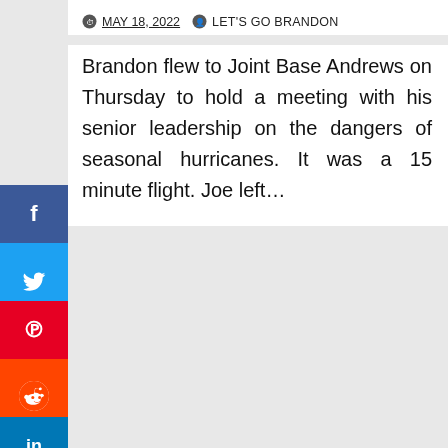MAY 18, 2022  LET'S GO BRANDON
Brandon flew to Joint Base Andrews on Thursday to hold a meeting with his senior leadership on the dangers of seasonal hurricanes. It was a 15 minute flight. Joe left…
[Figure (photo): Close-up photo of a baby bottle nipple on a dark/black background, with a drop of milk visible at the tip.]